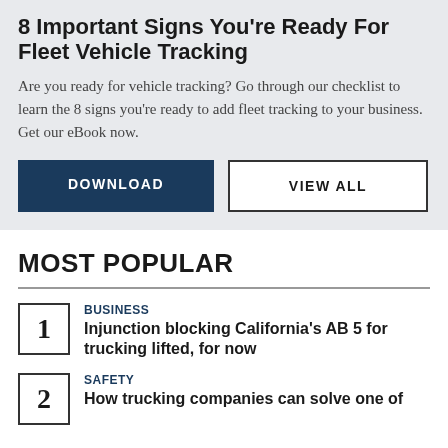8 Important Signs You're Ready For Fleet Vehicle Tracking
Are you ready for vehicle tracking? Go through our checklist to learn the 8 signs you're ready to add fleet tracking to your business. Get our eBook now.
DOWNLOAD
VIEW ALL
MOST POPULAR
1 BUSINESS Injunction blocking California's AB 5 for trucking lifted, for now
2 SAFETY How trucking companies can solve one of the industry's biggest challenges